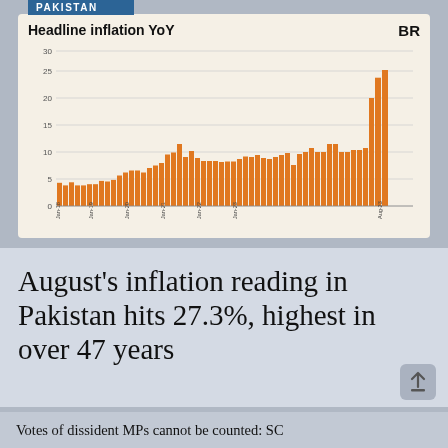PAKISTAN
[Figure (bar-chart): Headline inflation YoY]
August's inflation reading in Pakistan hits 27.3%, highest in over 47 years
Votes of dissident MPs cannot be counted: SC